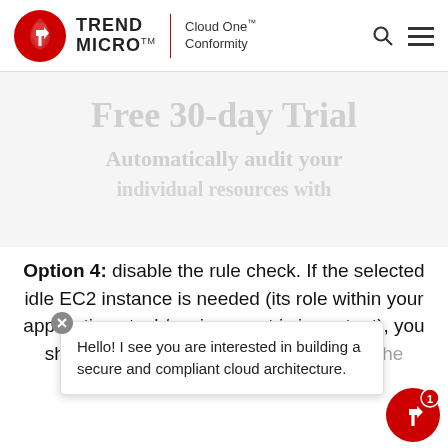[Figure (logo): Trend Micro logo with Cloud One Conformity product name in header]
Free 30-day Trial
Automatically audit your individual resources with
Option 4: disable the rule check. If the selected idle EC2 instance is needed (its role within your application stack/environment is important), you should turn off the conformity check for the instance and
Hello! I see you are interested in building a secure and compliant cloud architecture.